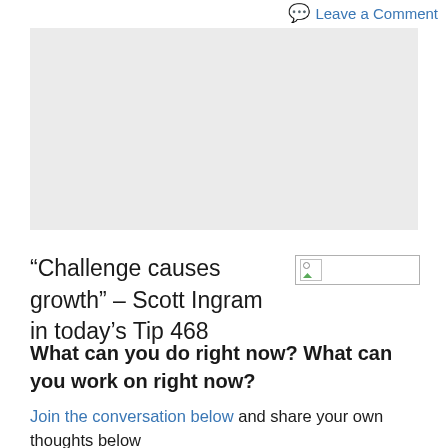Leave a Comment
[Figure (other): Gray placeholder/advertisement box]
“Challenge causes growth” – Scott Ingram in today’s Tip 468
[Figure (other): Broken image placeholder with small landscape icon]
What can you do right now? What can you work on right now?
Join the conversation below and share your own thoughts below...